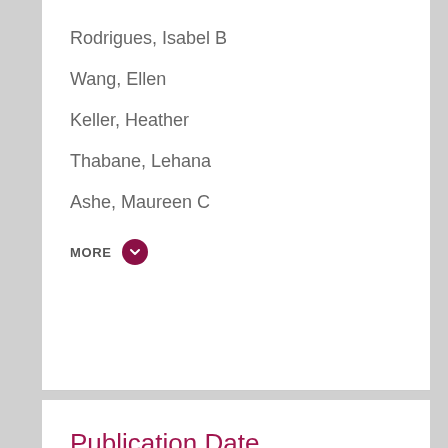Rodrigues, Isabel B
Wang, Ellen
Keller, Heather
Thabane, Lehana
Ashe, Maureen C
MORE
Publication Date
January 2021